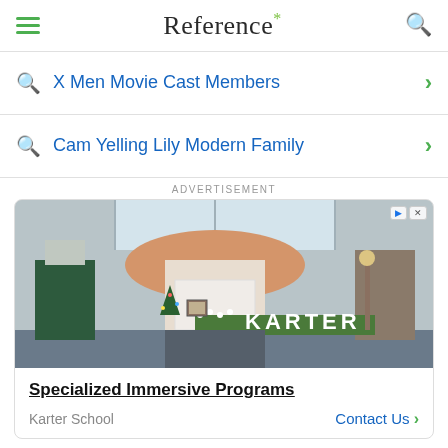Reference*
X Men Movie Cast Members
Cam Yelling Lily Modern Family
ADVERTISEMENT
[Figure (photo): Interior photo of an ornate mall-like space with decorative architecture and a sign reading KARTER]
Specialized Immersive Programs
Karter School    Contact Us >